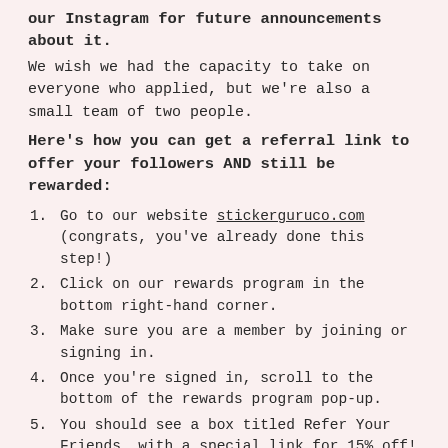our Instagram for future announcements about it.
We wish we had the capacity to take on everyone who applied, but we're also a small team of two people.
Here's how you can get a referral link to offer your followers AND still be rewarded:
Go to our website stickerguruco.com (congrats, you've already done this step!)
Click on our rewards program in the bottom right-hand corner.
Make sure you are a member by joining or signing in.
Once you're signed in, scroll to the bottom of the rewards program pop-up.
You should see a box titled Refer Your Friends, with a special link for 15% off! You'll receive a $5 off reward in return.
We recommend putting this in your linktr.ee / IG